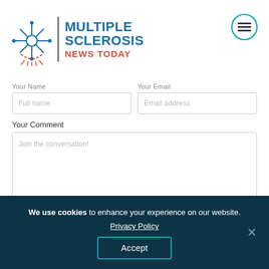[Figure (logo): Multiple Sclerosis News Today logo with snowflake/nerve icon, vertical divider, and text]
Your Name
Full name
Your Email
Email address
Your Comment
Join the conversation!
POST COMMENT
We use cookies to enhance your experience on our website. Privacy Policy Accept